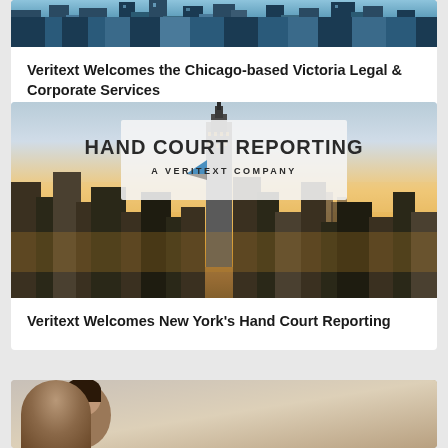[Figure (photo): Partial view of glass skyscrapers from below, showing reflective blue-tinted windows against sky]
Veritext Welcomes the Chicago-based Victoria Legal & Corporate Services
[Figure (photo): Hand Court Reporting - A Veritext Company logo overlaid on NYC skyline at sunset with Empire State Building prominent]
Veritext Welcomes New York's Hand Court Reporting
[Figure (photo): Partial view of a person (bottom of page, cropped)]